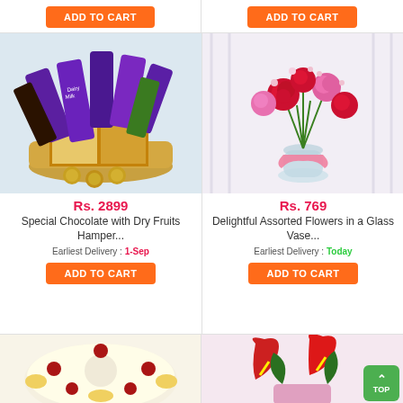[Figure (other): ADD TO CART button (top left product, partially visible)]
[Figure (other): ADD TO CART button (top right product, partially visible)]
[Figure (photo): Special Chocolate with Dry Fruits Hamper product photo showing Cadbury Dairy Milk chocolates, dry fruits in a basket, and Ferrero Rocher]
Rs. 2899
Special Chocolate with Dry Fruits Hamper...
Earliest Delivery : 1-Sep
[Figure (other): ADD TO CART button]
[Figure (photo): Delightful Assorted Flowers in a Glass Vase product photo showing pink and red roses and carnations in a glass vase with pink ribbon]
Rs. 769
Delightful Assorted Flowers in a Glass Vase...
Earliest Delivery : Today
[Figure (other): ADD TO CART button]
[Figure (photo): Cake product photo partially visible at bottom left]
[Figure (photo): Anthurium flower/plant product photo partially visible at bottom right, with green TOP navigation button overlay]